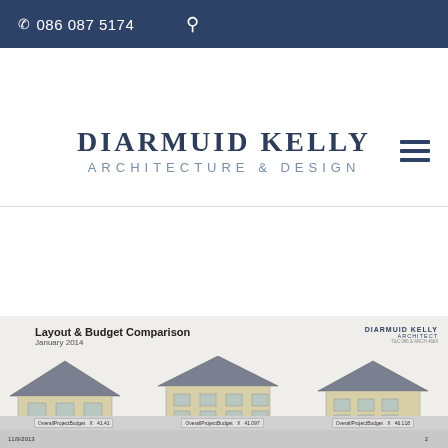086 087 5174
DIARMUID KELLY
ARCHITECTURE & DESIGN
[Figure (illustration): Architectural document thumbnail showing 'Layout & Budget Comparison, January 2014' with three building/house 3D renderings in a row, with Diarmuid Kelly Architect branding in top right]
Privacy & Cookies: This site uses cookies. By continuing to use this website, you agree to their use.
To find out more, including how to control cookies, see here: Cookie Policy
Close and accept
11/9/2013
2